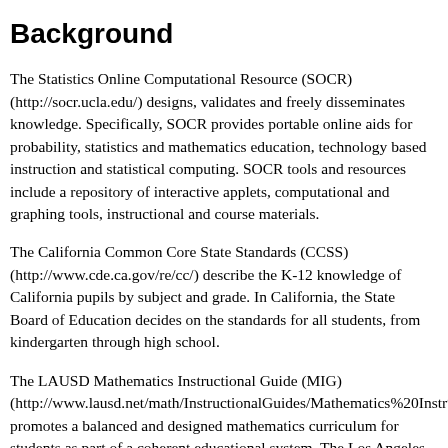Background
The Statistics Online Computational Resource (SOCR) (http://socr.ucla.edu/) designs, validates and freely disseminates knowledge. Specifically, SOCR provides portable online aids for probability, statistics and mathematics education, technology based instruction and statistical computing. SOCR tools and resources include a repository of interactive applets, computational and graphing tools, instructional and course materials.
The California Common Core State Standards (CCSS) (http://www.cde.ca.gov/re/cc/) describe the K-12 knowledge of California pupils by subject and grade. In California, the State Board of Education decides on the standards for all students, from kindergarten through high school.
The LAUSD Mathematics Instructional Guide (MIG) (http://www.lausd.net/math/InstructionalGuides/Mathematics%20Instr%202010.pdf) promotes a balanced and designed mathematics curriculum for students as part of a coherent educational system. The Los Angeles Unified School District's (LAUSD) vision is to provide its students with: